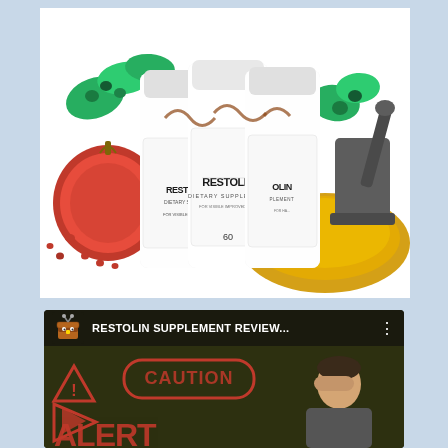[Figure (photo): Three white bottles of Restolin Dietary Supplement surrounded by natural ingredients including pomegranate, green olives, turmeric powder, and a mortar and pestle.]
[Figure (screenshot): YouTube video thumbnail for 'RESTOLIN SUPPLEMENT REVIEW...' showing a channel icon (treasure chest robot), video title, and thumbnail with CAUTION and ALERT text overlays, a play button, and a person holding their head.]